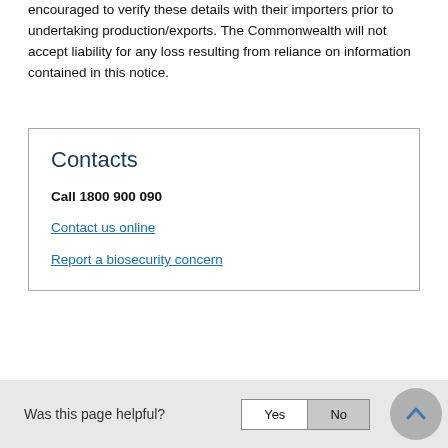encouraged to verify these details with their importers prior to undertaking production/exports. The Commonwealth will not accept liability for any loss resulting from reliance on information contained in this notice.
Contacts
Call 1800 900 090
Contact us online
Report a biosecurity concern
Was this page helpful?